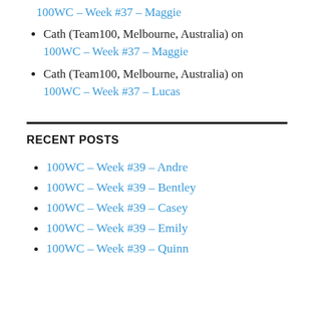100WC – Week #37 – Maggie (link, indented, top)
Cath (Team100, Melbourne, Australia) on 100WC – Week #37 – Maggie
Cath (Team100, Melbourne, Australia) on 100WC – Week #37 – Lucas
RECENT POSTS
100WC – Week #39 – Andre
100WC – Week #39 – Bentley
100WC – Week #39 – Casey
100WC – Week #39 – Emily
100WC – Week #39 – Quinn